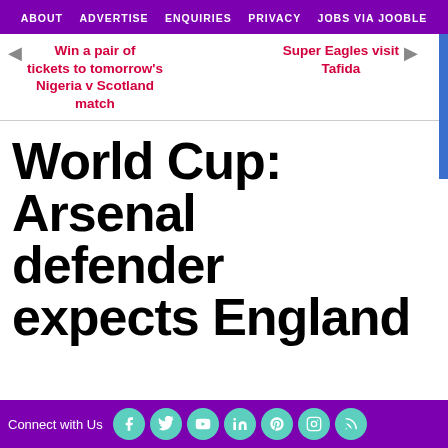ABOUT   ADVERTISE   ENQUIRIES   PRIVACY   JOBS VIA JOOBLE
◄ Win a pair of tickets to tomorrow's Nigeria v Scotland match
Super Eagles visit Tafida ►
World Cup: Arsenal defender expects England
Connect with Us